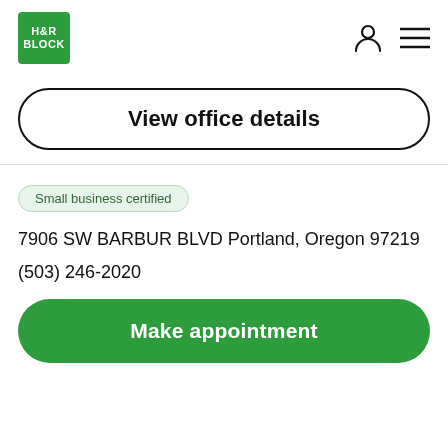[Figure (logo): H&R Block green square logo with white text]
View office details
Small business certified
7906 SW BARBUR BLVD Portland, Oregon 97219
(503) 246-2020
Make appointment